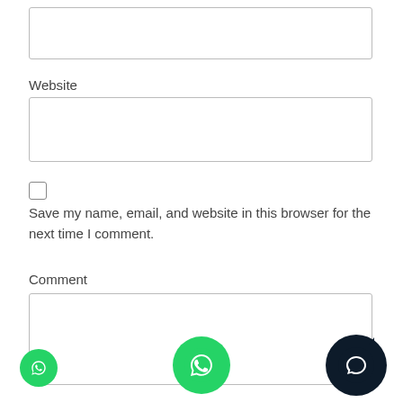[Figure (screenshot): Empty text input box at top of page]
Website
[Figure (screenshot): Website input field (empty text box)]
[Figure (screenshot): Unchecked checkbox]
Save my name, email, and website in this browser for the next time I comment.
Comment
[Figure (screenshot): Comment text area input box]
[Figure (other): Small green WhatsApp phone icon button at bottom left]
[Figure (other): Large green phone/WhatsApp icon button at bottom center]
[Figure (other): Dark navy chat bubble icon button at bottom right]